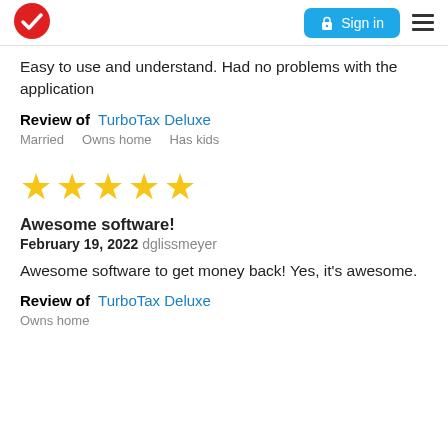[Figure (logo): Red circle with white checkmark logo]
[Figure (other): Sign in button and hamburger menu]
Easy to use and understand. Had no problems with the application
Review of  TurboTax Deluxe
Married    Owns home    Has kids
[Figure (other): Five gold stars rating]
Awesome software!
February 19, 2022 dglissmeyer
Awesome software to get money back! Yes, it's awesome.
Review of  TurboTax Deluxe
Owns home